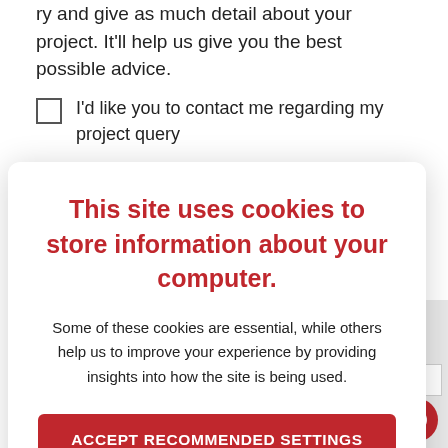ry and give as much detail about your project. It'll help us give you the best possible advice.
I'd like you to contact me regarding my project query
This site uses cookies to store information about your computer.
Some of these cookies are essential, while others help us to improve your experience by providing insights into how the site is being used.
ACCEPT RECOMMENDED SETTINGS
LEARN MORE